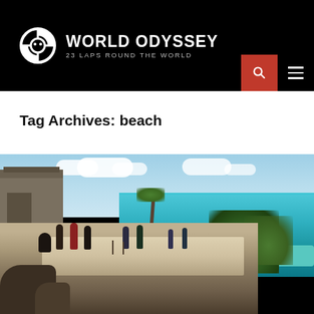WORLD ODYSSEY — 23 LAPS ROUND THE WORLD
Tag Archives: beach
[Figure (photo): Tourists standing on stone cliff ruins overlooking a turquoise Caribbean beach with palm trees and ancient Mayan-style stone building (Tulum ruins), blue sky with clouds in background.]